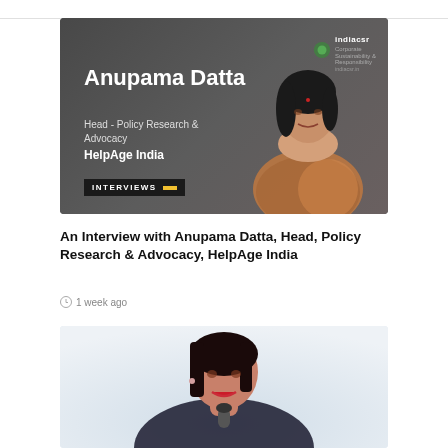[Figure (photo): Interview card image with dark background showing Anupama Datta, Head - Policy Research & Advocacy, HelpAge India, with indiacsr logo and INTERVIEWS badge]
An Interview with Anupama Datta, Head, Policy Research & Advocacy, HelpAge India
1 week ago
[Figure (photo): Photo of a woman speaking at a microphone, light blue background, cropped at top of page]